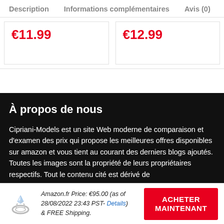Description   Informations complémentaires   Avis (0)
€11.99
€12.99
À propos de nous
Cipriani-Models est un site Web moderne de comparaison et d'examen des prix qui propose les meilleures offres disponibles sur amazon et vous tient au courant des derniers blogs ajoutés. Toutes les images sont la propriété de leurs propriétaires respectifs. Tout le contenu cité est dérivé de leur source respective.
Amazon.fr Price: €95.00 (as of 28/08/2022 23:43 PST- Details) & FREE Shipping.